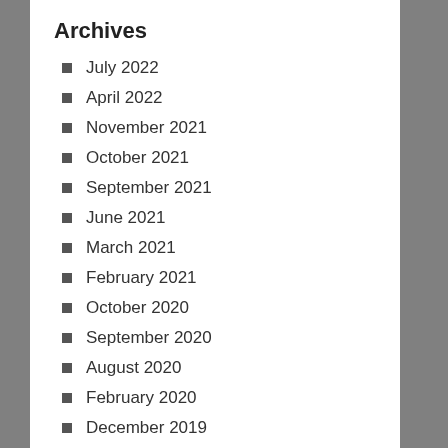Archives
July 2022
April 2022
November 2021
October 2021
September 2021
June 2021
March 2021
February 2021
October 2020
September 2020
August 2020
February 2020
December 2019
June 2019
April 2019